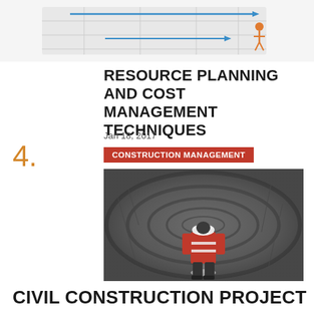[Figure (illustration): Partial illustration at top of page showing a construction planning diagram with arrows and a figure of a person, cropped at top]
RESOURCE PLANNING AND COST MANAGEMENT TECHNIQUES
Jan 18, 2017
4.
CONSTRUCTION MANAGEMENT
[Figure (photo): A worker in an orange high-visibility jacket and white hard hat walking through a large concrete tunnel or pipe, viewed from behind]
CIVIL CONSTRUCTION PROJECT